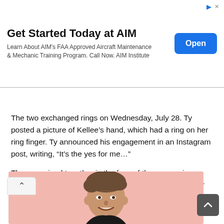[Figure (other): Advertisement banner for AIM Institute FAA Approved Aircraft Maintenance & Mechanic Training Program with an Open button]
The two exchanged rings on Wednesday, July 28. Ty posted a picture of Kellee’s hand, which had a ring on her ring finger. Ty announced his engagement in an Instagram post, writing, “It’s the yes for me…”
They remained together in the face of the coronavirus epidemic in 2020. Pennington adores Merrell, calling her “beautiful on the inside and out.” They aim to relocate as soon as possible to their new house.
About Ty Pennington:
[Figure (photo): Photo of Ty Pennington smiling against a pink background]